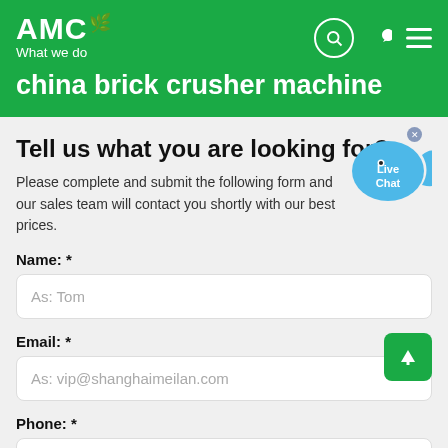AMC
What we do
china brick crusher machine
Tell us what you are looking for?
Please complete and submit the following form and our sales team will contact you shortly with our best prices.
Name: *
As: Tom
Email: *
As: vip@shanghameilan.com
Phone: *
With Country Code